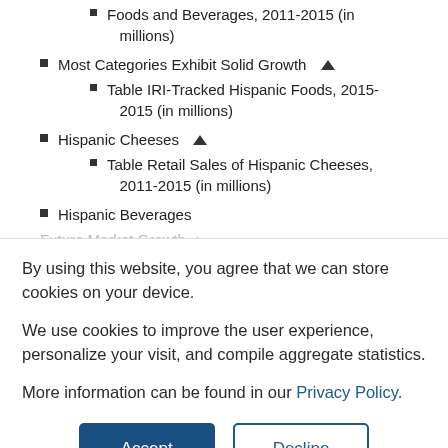Foods and Beverages, 2011-2015 (in millions)
Most Categories Exhibit Solid Growth ▲
Table IRI-Tracked Hispanic Foods, 2015-2015 (in millions)
Hispanic Cheeses ▲
Table Retail Sales of Hispanic Cheeses, 2011-2015 (in millions)
Hispanic Beverages
Future Market Growth ▲
By using this website, you agree that we can store cookies on your device.
We use cookies to improve the user experience, personalize your visit, and compile aggregate statistics.
More information can be found in our Privacy Policy.
Accept
Decline